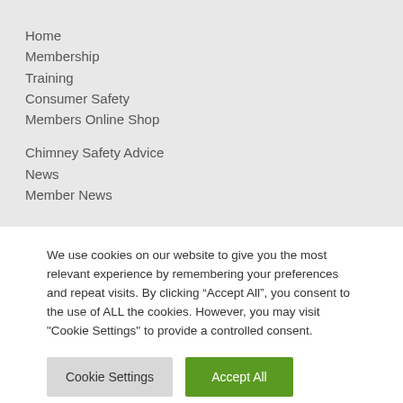Home
Membership
Training
Consumer Safety
Members Online Shop
Chimney Safety Advice
News
Member News
We use cookies on our website to give you the most relevant experience by remembering your preferences and repeat visits. By clicking “Accept All”, you consent to the use of ALL the cookies. However, you may visit "Cookie Settings" to provide a controlled consent.
Cookie Settings
Accept All